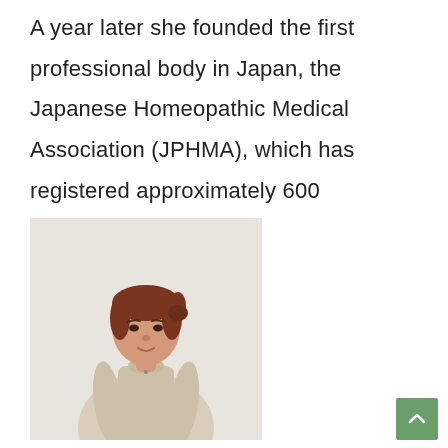A year later she founded the first professional body in Japan, the Japanese Homeopathic Medical Association (JPHMA), which has registered approximately 600 homeopaths.
[Figure (photo): Portrait photo of a woman with reddish-brown hair pulled back, wearing a light beige/cream colored button-up blouse, standing against a light grey/white background.]